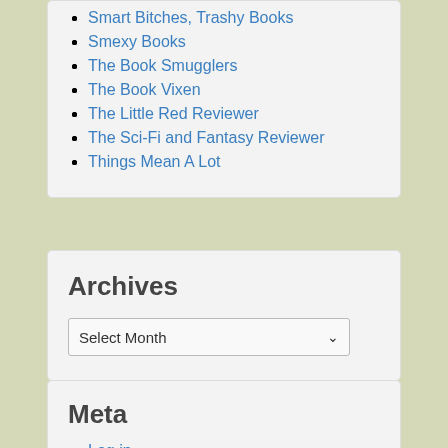Smart Bitches, Trashy Books
Smexy Books
The Book Smugglers
The Book Vixen
The Little Red Reviewer
The Sci-Fi and Fantasy Reviewer
Things Mean A Lot
Archives
Select Month
Meta
Log in
Entries feed